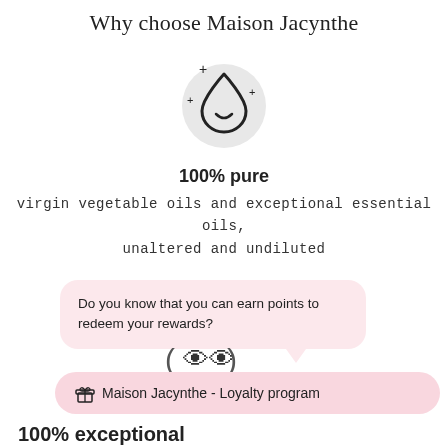Why choose Maison Jacynthe
[Figure (illustration): Water drop icon with sparkles, outline style on light gray circle background]
100% pure
virgin vegetable oils and exceptional essential oils, unaltered and undiluted
Do you know that you can earn points to redeem your rewards?
[Figure (illustration): Owl icon inside parentheses]
🎁 Maison Jacynthe - Loyalty program
100% exceptional